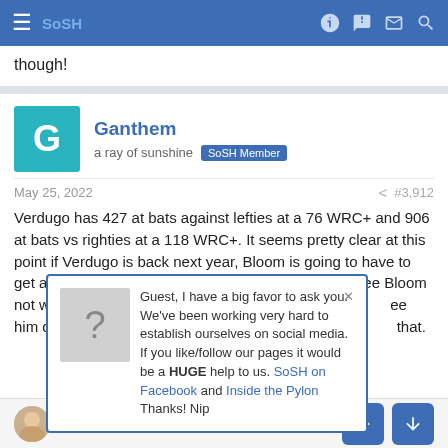SoSH (navigation bar)
though!
Ganthem
a ray of sunshine  SoSH Member
May 25, 2022  #3,912
Verdugo has 427 at bats against lefties at a 76 WRC+ and 906 at bats vs righties at a 118 WRC+. It seems pretty clear at this point if Verdugo is back next year, Bloom is going to have to get a platoon partner for him. I say if because I can see Bloom not wanting to pay V... he traded R... ee him do the same w... plete turn over of th... that.
Guest, I have a big favor to ask you. We've been working very hard to establish ourselves on social media. If you like/follow our pages it would be a HUGE help to us. SoSH on Facebook and Inside the Pylon Thanks! Nip
Member  SoSH Member